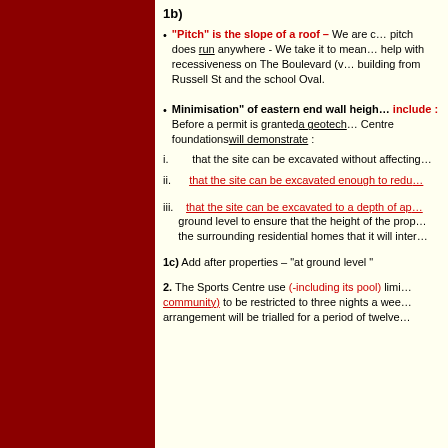1b)
"Pitch" is the slope of a roof – We are c… pitch does run anywhere - We take it to mean… help with recessiveness on The Boulevard (v… building from Russell St and the school Oval.
Minimisation" of eastern end wall heigh… include : Before a permit is granted a geotech… Centre foundations will demonstrate :
i. that the site can be excavated without affecting…
ii. that the site can be excavated enough to redu…
iii. that the site can be excavated to a depth of ap… ground level to ensure that the height of the prop… the surrounding residential homes that it will inter…
1c) Add after properties – "at ground level "
2. The Sports Centre use (-including its pool) limi… community) to be restricted to three nights a wee… arrangement will be trialled for a period of twelve…